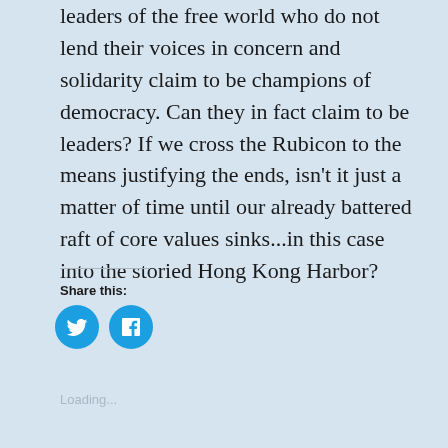leaders of the free world who do not lend their voices in concern and solidarity claim to be champions of democracy. Can they in fact claim to be leaders? If we cross the Rubicon to the means justifying the ends, isn't it just a matter of time until our already battered raft of core values sinks...in this case into the storied Hong Kong Harbor?
Share this:
[Figure (infographic): Twitter and Facebook share buttons as blue circular icons]
Loading...